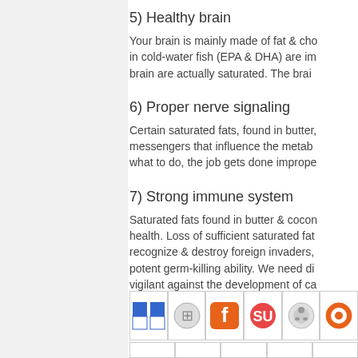5) Healthy brain
Your brain is mainly made of fat & cho in cold-water fish (EPA & DHA) are im brain are actually saturated. The brai
6) Proper nerve signaling
Certain saturated fats, found in butter messengers that influence the metab what to do, the job gets done imprope
7) Strong immune system
Saturated fats found in butter & coco health. Loss of sufficient saturated fa recognize & destroy foreign invaders, potent germ-killing ability. We need di vigilant against the development of ca
http://www.fourhourworkweek.com/blo
Give your answer to this question b
[Figure (other): Row of social sharing icons: Delicious, Faves, Friendfeed, Stumbleupon, Reddit, and one more icon in first row; partial second row visible]